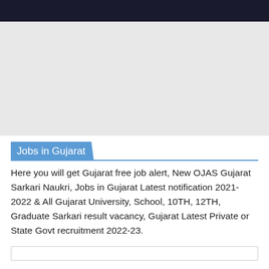[Figure (other): Dark navigation bar at the top of the page]
[Figure (other): Light gray advertisement/banner placeholder area]
Jobs in Gujarat
Here you will get Gujarat free job alert, New OJAS Gujarat Sarkari Naukri, Jobs in Gujarat Latest notification 2021-2022 & All Gujarat University, School, 10TH, 12TH, Graduate Sarkari result vacancy, Gujarat Latest Private or State Govt recruitment 2022-23.